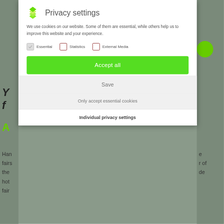[Figure (screenshot): Privacy settings modal dialog overlay on a website. Contains a green logo, title 'Privacy settings', cookie consent text, checkboxes for Essential/Statistics/External Media, and buttons: Accept all, Save, Only accept essential cookies, Individual privacy settings.]
Privacy settings
We use cookies on our website. Some of them are essential, while others help us to improve this website and your experience.
Essential   Statistics   External Media
Accept all
Save
Only accept essential cookies
Individual privacy settings